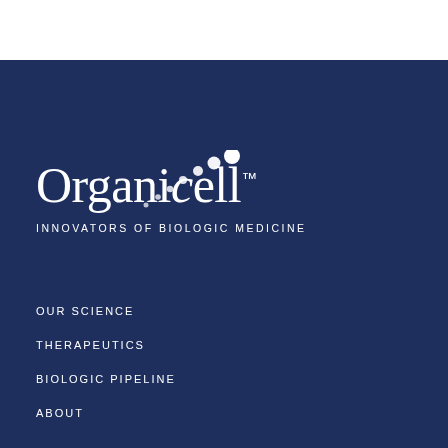[Figure (logo): Organicell logo with dots arc motif and trademark symbol, white on dark navy blue background]
INNOVATORS OF BIOLOGIC MEDICINE
OUR SCIENCE
THERAPEUTICS
BIOLOGIC PIPELINE
ABOUT